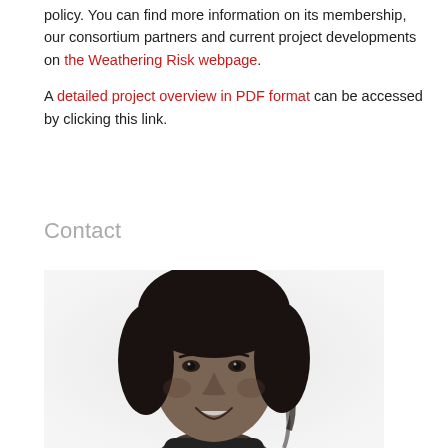policy. You can find more information on its membership, our consortium partners and current project developments on the Weathering Risk webpage. A detailed project overview in PDF format can be accessed by clicking this link.
Contact
[Figure (photo): Black and white portrait photo of a smiling woman with dark shoulder-length hair]